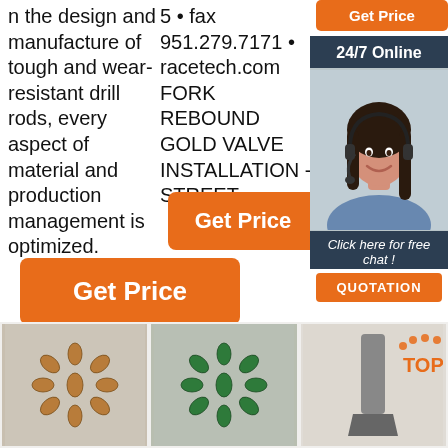n the design and manufacture of tough and wear-resistant drill rods, every aspect of material and production management is optimized.
5 • fax 951.279.7171 • racetech.com FORK REBOUND GOLD VALVE INSTALLATION - STREET ...
[Figure (screenshot): Orange Get Price button at top right]
[Figure (screenshot): 24/7 Online chat widget with photo of woman wearing headset, Click here for free chat! and QUOTATION button]
[Figure (screenshot): Get Price button in middle of second column]
[Figure (screenshot): Get Price button below first column]
[Figure (photo): Bronze/copper colored drill bit tips arranged in a star pattern]
[Figure (photo): Green colored drill bit tips arranged in a star pattern]
[Figure (photo): Flat chisel drill bit with TOP logo overlay]